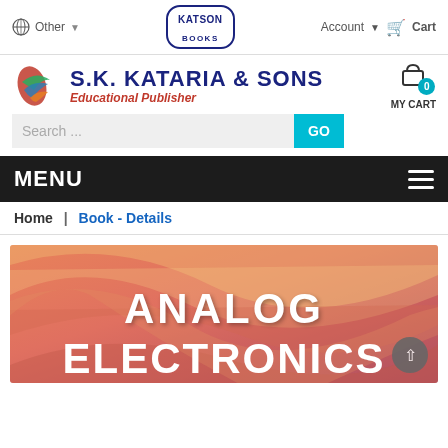Other | KATSON BOOKS | Account | Cart
S.K. KATARIA & SONS
Educational Publisher
Search ... GO | MY CART 0
MENU
Home | Book - Details
[Figure (photo): Book cover for 'Analog Electronics' with orange/red gradient swirl background and white bold text]